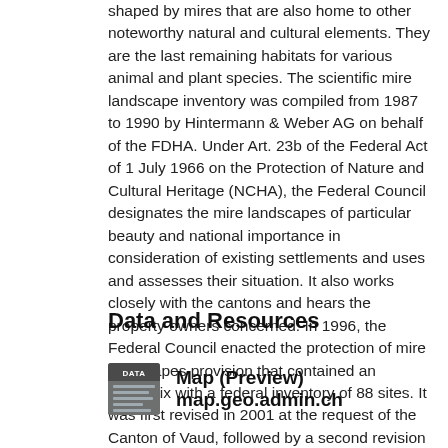shaped by mires that are also home to other noteworthy natural and cultural elements. They are the last remaining habitats for various animal and plant species. The scientific mire landscape inventory was compiled from 1987 to 1990 by Hintermann & Weber AG on behalf of the FDHA. Under Art. 23b of the Federal Act of 1 July 1966 on the Protection of Nature and Cultural Heritage (NCHA), the Federal Council designates the mire landscapes of particular beauty and national importance in consideration of existing settlements and uses and assesses their situation. It also works closely with the cantons and hears the property owners concerned. In 1996, the Federal Council enacted the protection of mire landscapes provision that contained an appendix with a federal inventory of 88 sites. It was first revised in 2001 at the request of the Canton of Vaud, followed by a second revision that including the definitive entry of the Grimsel site in 2004, and two other revisions in 2007, 2015 and 2017. It counts now 89 sites.
Data and Resources
[Figure (other): DATA icon label badge in grey/green colors]
Map (Preview) map.geo.admin.ch